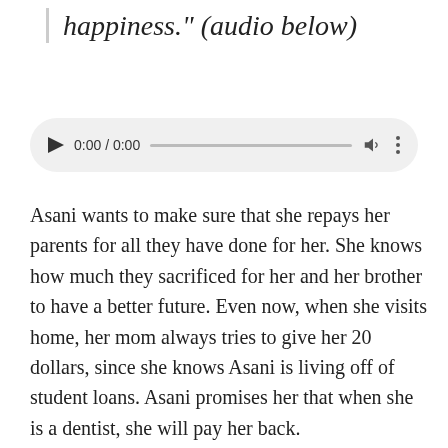happiness." (audio below)
[Figure (other): Audio player widget showing 0:00 / 0:00 with play button, progress bar, volume icon, and more options icon]
Asani wants to make sure that she repays her parents for all they have done for her. She knows how much they sacrificed for her and her brother to have a better future. Even now, when she visits home, her mom always tries to give her 20 dollars, since she knows Asani is living off of student loans. Asani promises her that when she is a dentist, she will pay her back.